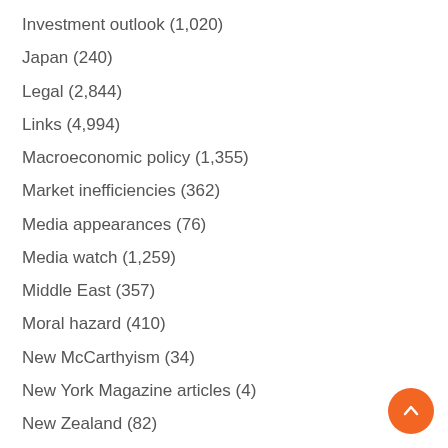Investment outlook (1,020)
Japan (240)
Legal (2,844)
Links (4,994)
Macroeconomic policy (1,355)
Market inefficiencies (362)
Media appearances (76)
Media watch (1,259)
Middle East (357)
Moral hazard (410)
New McCarthyism (34)
New York Magazine articles (4)
New Zealand (82)
Notices (588)
OCC (16)
Pandemic (906)
Payment system (197)